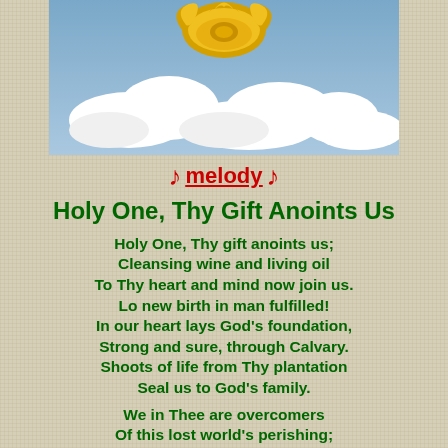[Figure (illustration): A decorative religious illustration showing a golden ornamental emblem (crown/crest) above blue sky with white clouds.]
♪ melody ♪
Holy One, Thy Gift Anoints Us
Holy One, Thy gift anoints us;
Cleansing wine and living oil
To Thy heart and mind now join us.
Lo new birth in man fulfilled!
In our heart lays God's foundation,
Strong and sure, through Calvary.
Shoots of life from Thy plantation
Seal us to God's family.
We in Thee are overcomers
Of this lost world's perishing;